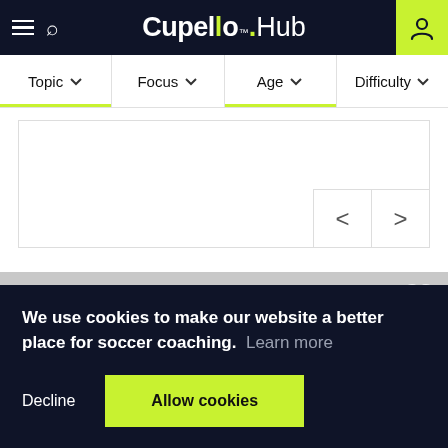Cupello™.Hub
Topic  Focus  Age  Difficulty
[Figure (screenshot): Navigation filter bar with Topic, Focus, Age, Difficulty dropdowns and a white content area with left/right arrow navigation buttons]
We use cookies to make our website a better place for soccer coaching.  Learn more
Decline   Allow cookies